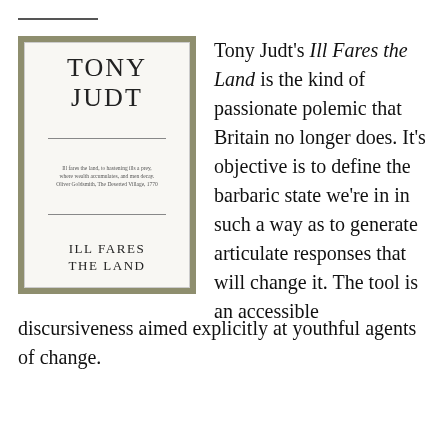[Figure (illustration): Book cover of 'Ill Fares the Land' by Tony Judt. Olive/khaki background with white inner panel. Large serif text reads 'TONY JUDT' at top, small italic quote text in middle, then 'ILL FARES THE LAND' at bottom.]
Tony Judt's Ill Fares the Land is the kind of passionate polemic that Britain no longer does. It's objective is to define the barbaric state we're in in such a way as to generate articulate responses that will change it. The tool is an accessible discursiveness aimed explicitly at youthful agents of change.